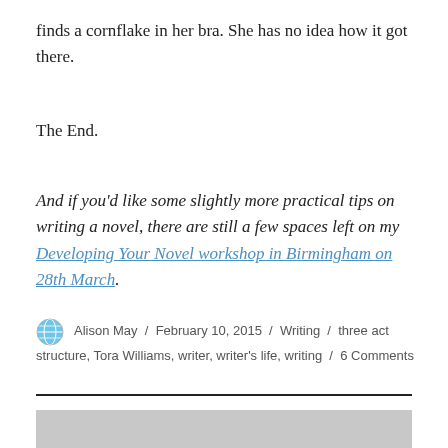finds a cornflake in her bra. She has no idea how it got there.
The End.
And if you'd like some slightly more practical tips on writing a novel, there are still a few spaces left on my Developing Your Novel workshop in Birmingham on 28th March.
Alison May / February 10, 2015 / Writing / three act structure, Tora Williams, writer, writer's life, writing / 6 Comments